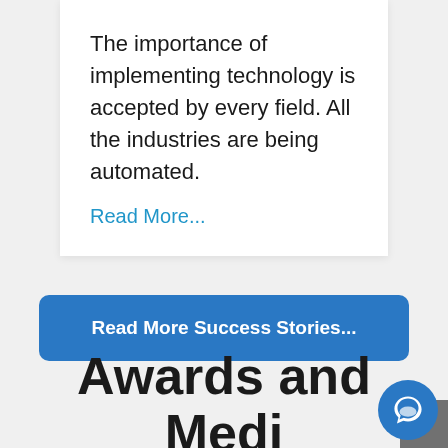The importance of implementing technology is accepted by every field. All the industries are being automated.
Read More...
Read More Success Stories...
Awards and Media Coverage